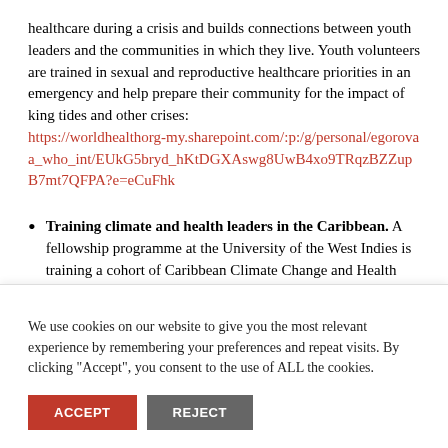healthcare during a crisis and builds connections between youth leaders and the communities in which they live. Youth volunteers are trained in sexual and reproductive healthcare priorities in an emergency and help prepare their community for the impact of king tides and other crises: https://worldhealthorg-my.sharepoint.com/:p:/g/personal/egorovaa_who_int/EUkG5bryd_hKtDGXAswg8UwB4xo9TRqzBZZupB7mt7QFPA?e=eCuFhk
Training climate and health leaders in the Caribbean. A fellowship programme at the University of the West Indies is training a cohort of Caribbean Climate Change and Health...
We use cookies on our website to give you the most relevant experience by remembering your preferences and repeat visits. By clicking "Accept", you consent to the use of ALL the cookies.